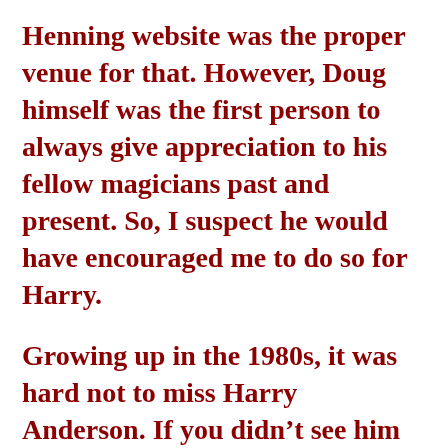Henning website was the proper venue for that. However, Doug himself was the first person to always give appreciation to his fellow magicians past and present. So, I suspect he would have encouraged me to do so for Harry.
Growing up in the 1980s, it was hard not to miss Harry Anderson. If you didn't see him on “Saturday Night Live” and “Cheers,” you were sure to find him every week on “Night